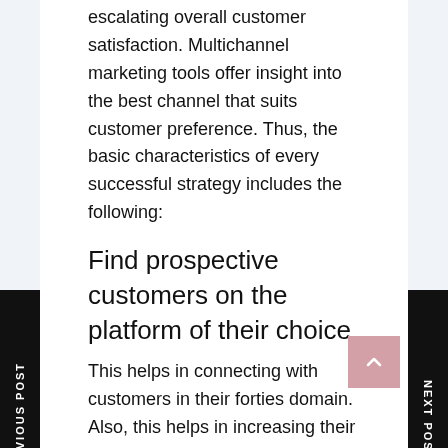escalating overall customer satisfaction. Multichannel marketing tools offer insight into the best channel that suits customer preference. Thus, the basic characteristics of every successful strategy includes the following:
Find prospective customers on the platform of their choice
This helps in connecting with customers in their forties domain. Also, this helps in increasing their attention span towards the marketing strategies. Right use of multichannel marketing tools helps in shaping the customer journey in the right manner. If the businesses want to engage with customers by taking a personalized approach, they can find customers at different times of the day or even across